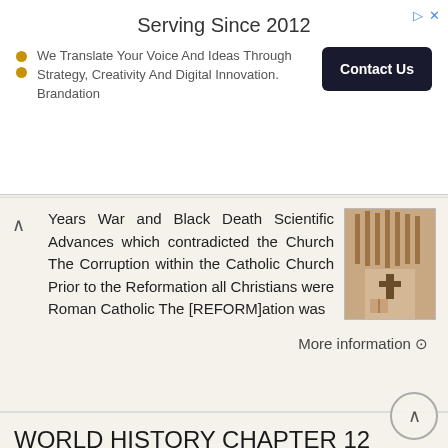[Figure (infographic): Advertisement banner: 'Serving Since 2012' with tagline 'We Translate Your Voice And Ideas Through Strategy, Creativity And Digital Innovation. Brandation' and a 'Contact Us' button]
Years War and Black Death Scientific Advances which contradicted the Church The Corruption within the Catholic Church Prior to the Reformation all Christians were Roman Catholic The [REFORM]ation was
More information →
WORLD HISTORY CHAPTER 12 PACKET: RENAISSANCE AND REFORMATION (1350 CE CE)
WORLD HISTORY CHAPTER 12 PACKET: RENAISSANCE AND REFORMATION (1350 CE - 1600 CE) Take-Home Homework Packet 100 Points Honor Code I understand that this is an independent assignment and that I can